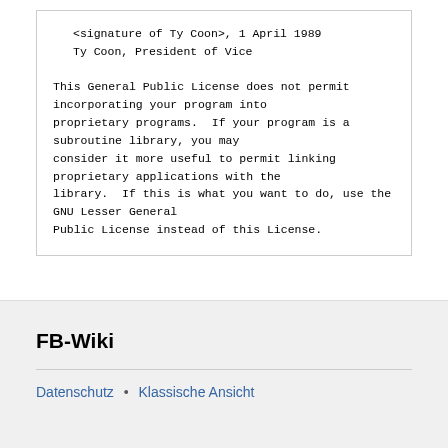<signature of Ty Coon>, 1 April 1989
    Ty Coon, President of Vice

This General Public License does not permit incorporating your program into proprietary programs.  If your program is a subroutine library, you may consider it more useful to permit linking proprietary applications with the library.  If this is what you want to do, use the GNU Lesser General Public License instead of this License.
FB-Wiki
Datenschutz • Klassische Ansicht